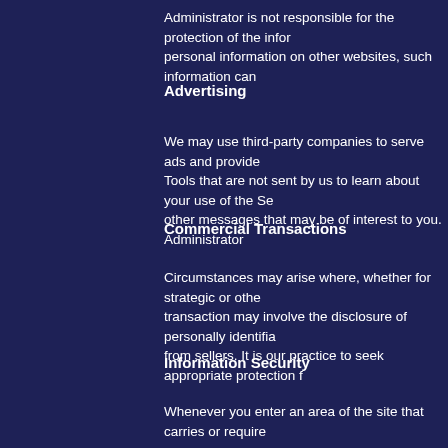Administrator is not responsible for the protection of the information personal information on other websites, such information can
Advertising
We may use third-party companies to serve ads and provide Tools that are not sent by us to learn about your use of the Se other messages that may be of interest to you. Administrator
Commercial Transactions
Circumstances may arise where, whether for strategic or othe transaction may involve the disclosure of personally identifia from sellers. It is our practice to seek appropriate protection f
Information Security
Whenever you enter an area of the site that carries or require appear in the address bar of your browser, indicating that the Communications Technology security standards that are supp number, name, address, phone number, identification numbe provide encryption technologies and use other reasonable pr guarantee that information transmitted through the Internet is
We have put in place certain physical, technological and man these procedures do not guarantee that the information will re
Communications